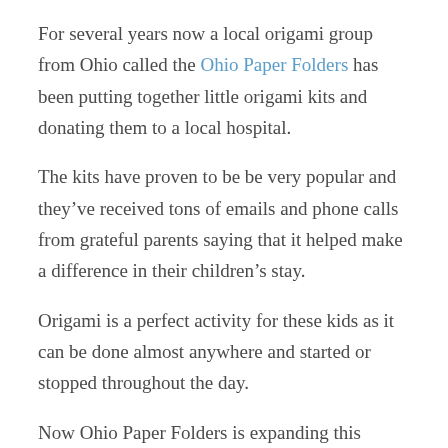For several years now a local origami group from Ohio called the Ohio Paper Folders has been putting together little origami kits and donating them to a local hospital.
The kits have proven to be be very popular and they've received tons of emails and phone calls from grateful parents saying that it helped make a difference in their children's stay.
Origami is a perfect activity for these kids as it can be done almost anywhere and started or stopped throughout the day.
Now Ohio Paper Folders is expanding this initiative and they want to put together booklets and kits of paper for hopefully 190+ children's hospitals in North America.